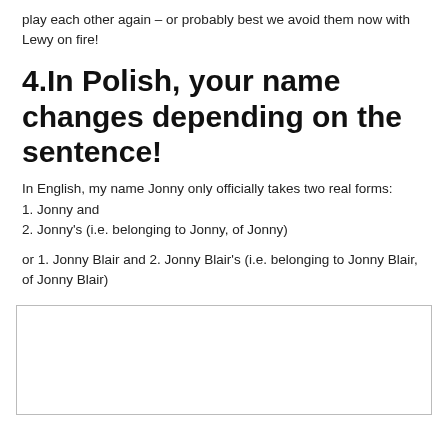play each other again – or probably best we avoid them now with Lewy on fire!
4.In Polish, your name changes depending on the sentence!
In English, my name Jonny only officially takes two real forms:
1. Jonny and
2. Jonny's (i.e. belonging to Jonny, of Jonny)
or 1. Jonny Blair and 2. Jonny Blair's (i.e. belonging to Jonny Blair, of Jonny Blair)
[Figure (other): Empty bordered box/image placeholder]